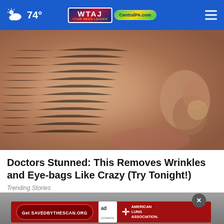74° WTAJ CentralPA.com
[Figure (photo): Close-up macro photograph of elderly person's face showing wrinkled, dry skin near the nose and cheek area]
Doctors Stunned: This Removes Wrinkles and Eye-bags Like Crazy (Try Tonight!)
Trending Stories
[Figure (photo): Bottom portion showing a person and an advertisement banner for SAVEDBYTHESCAN.ORG from Ad Council and American Lung Association]